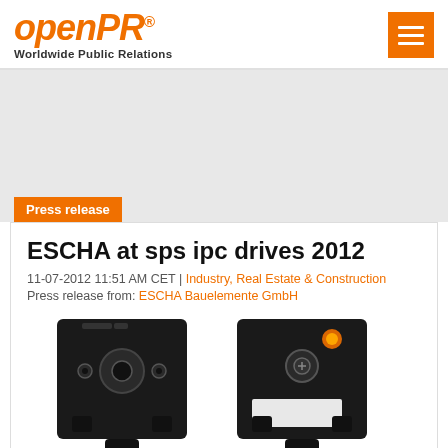openPR® Worldwide Public Relations
Press release
ESCHA at sps ipc drives 2012
11-07-2012 11:51 AM CET | Industry, Real Estate & Construction
Press release from: ESCHA Bauelemente GmbH
[Figure (photo): Two black industrial valve connectors/plugs photographed against white background — one showing the socket side and one showing the connector with an orange LED indicator light.]